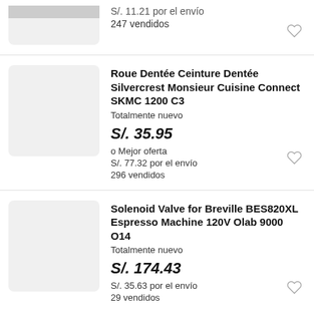S/. 11.21 por el envío
247 vendidos
[Figure (photo): Partial product thumbnail image at top of page]
Roue Dentée Ceinture Dentée Silvercrest Monsieur Cuisine Connect SKMC 1200 C3
Totalmente nuevo
S/. 35.95
o Mejor oferta
S/. 77.32 por el envío
296 vendidos
[Figure (photo): Product thumbnail placeholder (light gray square)]
Solenoid Valve for Breville BES820XL Espresso Machine 120V Olab 9000 O14
Totalmente nuevo
S/. 174.43
S/. 35.63 por el envío
29 vendidos
[Figure (photo): Product thumbnail placeholder (light gray square)]